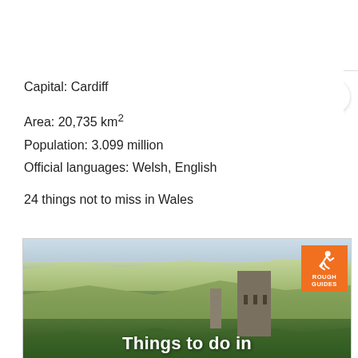Capital: Cardiff
Area: 20,735 km²
Population: 3.099 million
Official languages: Welsh, English
24 things not to miss in Wales
[Figure (photo): Landscape photo of Welsh countryside with a medieval stone castle tower on a hill, rolling green hills in the background, and a Rough Guides logo in the top right corner. Overlay text reads 'Things to do in']